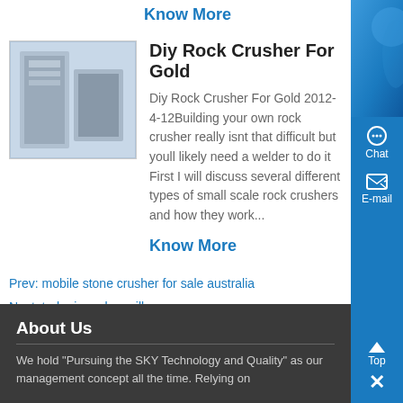Know More
Diy Rock Crusher For Gold
Diy Rock Crusher For Gold 2012-4-12Building your own rock crusher really isnt that difficult but youll likely need a welder to do it First I will discuss several different types of small scale rock crushers and how they work...
Know More
Prev: mobile stone crusher for sale australia
Next: turbo iron slag mill
About Us
We hold "Pursuing the SKY Technology and Quality" as our management concept all the time. Relying on